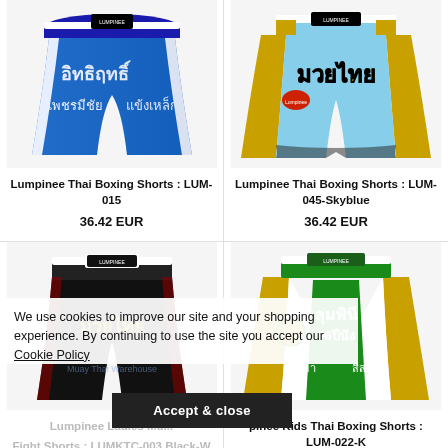[Figure (photo): Blue Lumpinee Thai Boxing Shorts LUM-015 with Thai script]
[Figure (photo): Skyblue and gold Lumpinee Thai Boxing Shorts LUM-045-Skyblue with Thai script]
Lumpinee Thai Boxing Shorts : LUM-015
36.42 EUR
Lumpinee Thai Boxing Shorts : LUM-045-Skyblue
36.42 EUR
[Figure (photo): Black Lumpinee Ladies/Muay Thai shorts LUMKTC-003 Black-W with Thai script]
[Figure (photo): Green/gold/white Lumpinee Kids Thai Boxing Shorts LUM-022-K with Thai script]
Lumpinee Ladies Muay Thai Fight Shorts : LUMKTC-003 Black-W
pinee Kids Thai Boxing Shorts : LUM-022-K
We use cookies to improve our site and your shopping experience. By continuing to use the site you accept our Cookie Policy
Accept & close